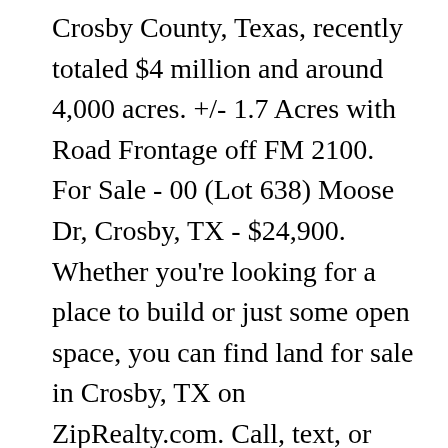Crosby County, Texas, recently totaled $4 million and around 4,000 acres. +/- 1.7 Acres with Road Frontage off FM 2100. For Sale - 00 (Lot 638) Moose Dr, Crosby, TX - $24,900. Whether you're looking for a place to build or just some open space, you can find land for sale in Crosby, TX on ZipRealty.com. Call, text, or email for more information, to schedule a tour, and to receive a copy of the deed restrictions, the HOA by-laws, the recorded Plat, etc. 5202 Lord Rd Crosby TX 77532. The median listing price of land in Crosby is $234,990. Own Your Piece of America!!! LOCATION! Whether you're looking for a place to build or just some open space, you can find land for sale in Crosby, TX on ZipRealty.com